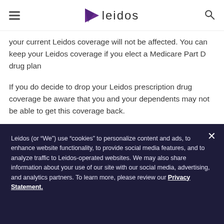Leidos
your current Leidos coverage will not be affected. You can keep your Leidos coverage if you elect a Medicare Part D drug plan
If you do decide to drop your Leidos prescription drug coverage be aware that you and your dependents may not be able to get this coverage back.
Remember: Keep this Creditable Coverage notice. If you
Leidos (or “We”) use “cookies” to personalize content and ads, to enhance website functionality, to provide social media features, and to analyze traffic to Leidos-operated websites. We may also share information about your use of our site with our social media, advertising, and analytics partners. To learn more, please review our Privacy Statement.